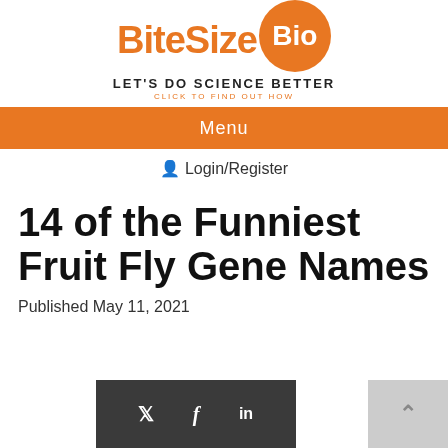[Figure (logo): BiteSizeBio logo with orange circle containing 'Bio' text, and orange bold 'BiteSize' text]
LET'S DO SCIENCE BETTER
CLICK TO FIND OUT HOW
Menu
Login/Register
14 of the Funniest Fruit Fly Gene Names
Published May 11, 2021